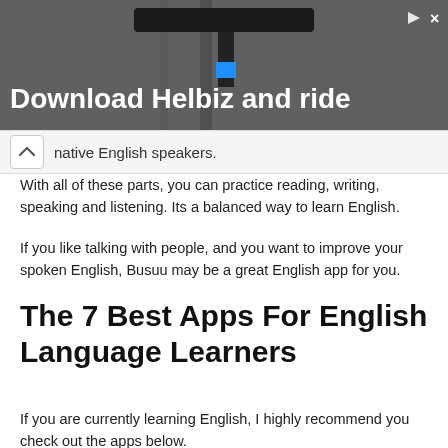[Figure (photo): Advertisement banner showing a scooter handlebar with text 'Download Helbiz and ride' on a dark background, with a play icon and close button in the top right.]
native English speakers.
With all of these parts, you can practice reading, writing, speaking and listening. Its a balanced way to learn English.
If you like talking with people, and you want to improve your spoken English, Busuu may be a great English app for you.
The 7 Best Apps For English Language Learners
If you are currently learning English, I highly recommend you check out the apps below.